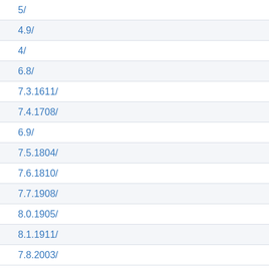5/
4.9/
4/
6.8/
7.3.1611/
7.4.1708/
6.9/
7.5.1804/
7.6.1810/
7.7.1908/
8.0.1905/
8.1.1911/
7.8.2003/